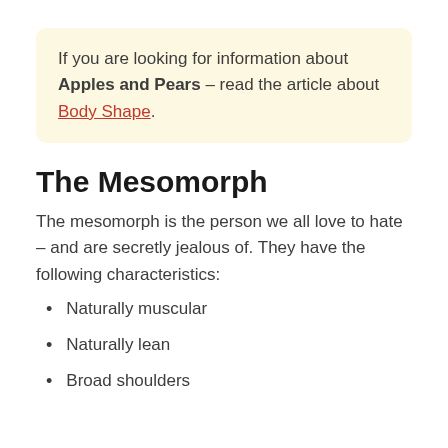If you are looking for information about Apples and Pears – read the article about Body Shape.
The Mesomorph
The mesomorph is the person we all love to hate – and are secretly jealous of. They have the following characteristics:
Naturally muscular
Naturally lean
Broad shoulders